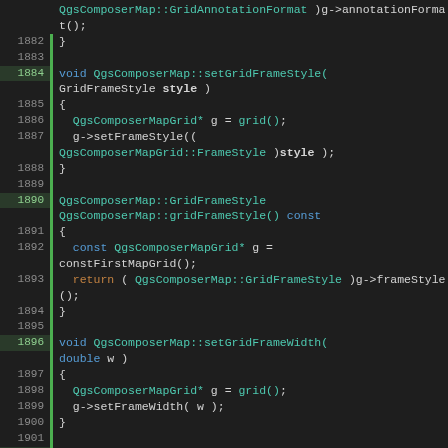[Figure (screenshot): Source code viewer showing C++ code for QgsComposerMap class methods including setGridFrameStyle, gridFrameStyle, setGridFrameWidth, and gridFrameWidth, with line numbers 1882-1907 and green change markers on certain lines.]